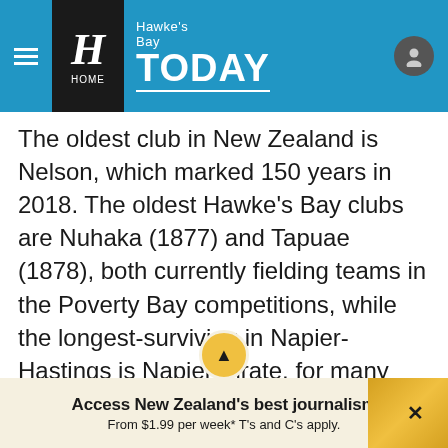Hawke's Bay TODAY
The oldest club in New Zealand is Nelson, which marked 150 years in 2018. The oldest Hawke's Bay clubs are Nuhaka (1877) and Tapuae (1878), both currently fielding teams in the Poverty Bay competitions, while the longest-surviving in Napier-Hastings is Napier Pirate, for many years known as Colenso Pirate and which held its 125th-year celebrations in 2011.
Access New Zealand's best journalism From $1.99 per week* T's and C's apply.